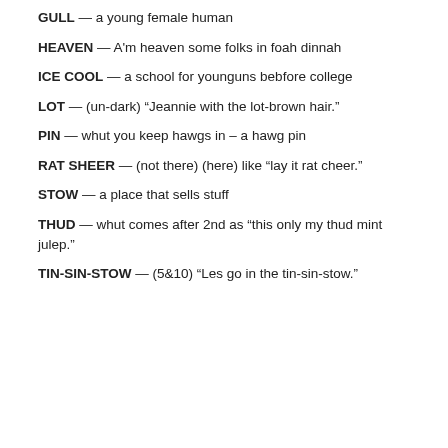GULL — a young female human
HEAVEN — A'm heaven some folks in foah dinnah
ICE COOL — a school for younguns bebfore college
LOT — (un-dark) “Jeannie with the lot-brown hair.”
PIN — whut you keep hawgs in – a hawg pin
RAT SHEER — (not there) (here) like “lay it rat cheer.”
STOW — a place that sells stuff
THUD — whut comes after 2nd as “this only my thud mint julep.”
TIN-SIN-STOW — (5&10) “Les go in the tin-sin-stow.”